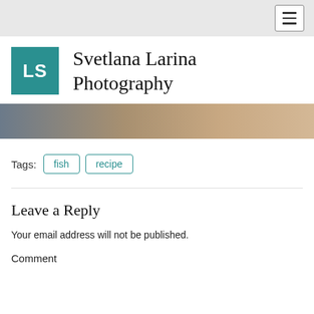≡
[Figure (logo): Teal square logo with white text 'LS']
Svetlana Larina Photography
[Figure (photo): Blurred horizontal photo strip showing muted tones of grey, peach, and tan]
Tags: fish recipe
Leave a Reply
Your email address will not be published.
Comment